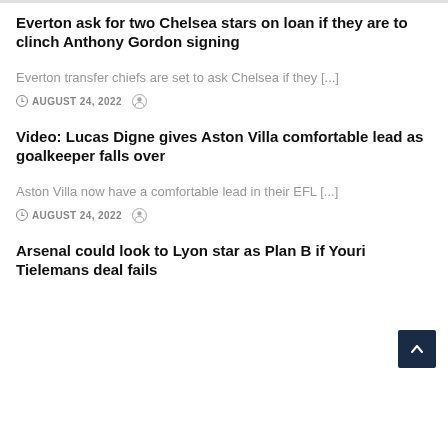Everton ask for two Chelsea stars on loan if they are to clinch Anthony Gordon signing
Everton transfer chiefs are set to ask Chelsea if they [...]
AUGUST 24, 2022
Video: Lucas Digne gives Aston Villa comfortable lead as goalkeeper falls over
Aston Villa now have a comfortable lead in their EFL [...]
AUGUST 24, 2022
Arsenal could look to Lyon star as Plan B if Youri Tielemans deal fails